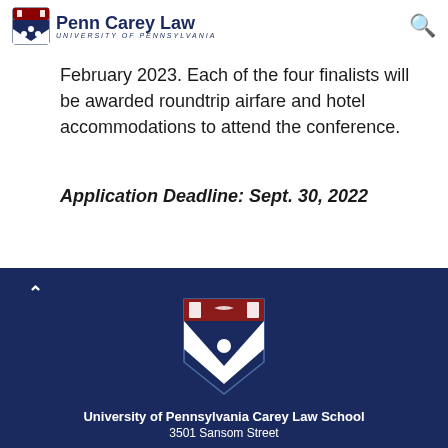Penn Carey Law University of Pennsylvania
February 2023. Each of the four finalists will be awarded roundtrip airfare and hotel accommodations to attend the conference.
Application Deadline: Sept. 30, 2022
University of Pennsylvania Carey Law School
3501 Sansom Street